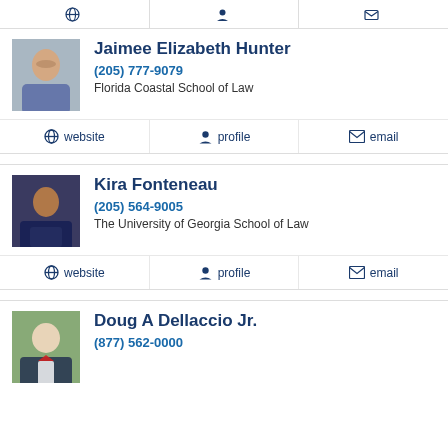[Figure (other): Partial top navigation bar with website, profile, email buttons]
Jaimee Elizabeth Hunter
(205) 777-9079
Florida Coastal School of Law
website  profile  email
Kira Fonteneau
(205) 564-9005
The University of Georgia School of Law
website  profile  email
Doug A Dellaccio Jr.
(877) 562-0000